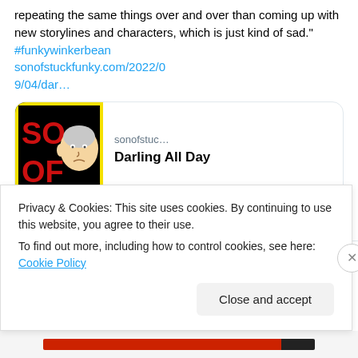repeating the same things over and over than coming up with new storylines and characters, which is just kind of sad." #funkywinkerbean sonofstuckfunky.com/2022/09/04/dar…
[Figure (screenshot): Link card showing sonofstuc… site with 'Darling All Day' title and SOSF logo image]
[Figure (illustration): Comment and heart/like icons for tweet actions]
Son of Stuck Funky
Privacy & Cookies: This site uses cookies. By continuing to use this website, you agree to their use.
To find out more, including how to control cookies, see here: Cookie Policy
Close and accept